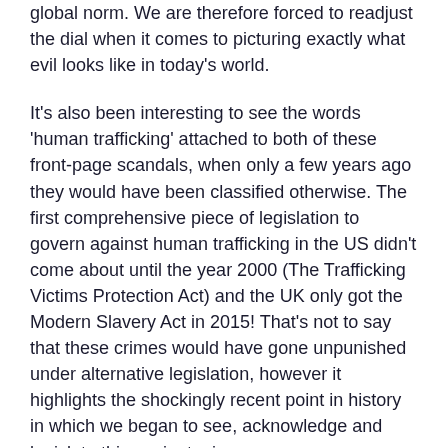global norm. We are therefore forced to readjust the dial when it comes to picturing exactly what evil looks like in today’s world.
It’s also been interesting to see the words ‘human trafficking’ attached to both of these front-page scandals, when only a few years ago they would have been classified otherwise. The first comprehensive piece of legislation to govern against human trafficking in the US didn’t come about until the year 2000 (The Trafficking Victims Protection Act) and the UK only got the Modern Slavery Act in 2015! That’s not to say that these crimes would have gone unpunished under alternative legislation, however it highlights the shockingly recent point in history in which we began to see, acknowledge and legislate this ancient crime.
In other news, before leaving office this month, British Prime Minister Theresa May appointed the